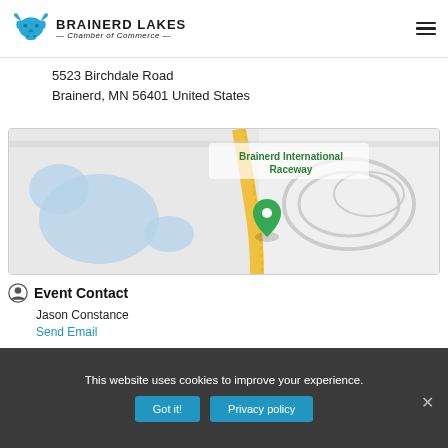BRAINERD LAKES Chamber of Commerce
5523 Birchdale Road
Brainerd, MN 56401 United States
[Figure (map): Google Maps view showing Brainerd International Raceway location with a green map pin marker and surrounding roads including a yellow road curving through the area.]
Event Contact
Jason Constance
Send Email
Wednesday, July 6, 2022 (4:00 PM - 10:00 PM) (CDT)
This website uses cookies to improve your experience.